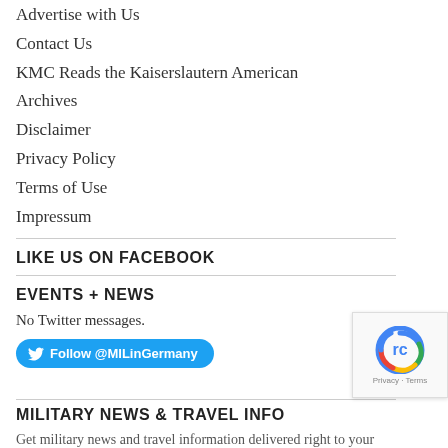Advertise with Us
Contact Us
KMC Reads the Kaiserslautern American
Archives
Disclaimer
Privacy Policy
Terms of Use
Impressum
LIKE US ON FACEBOOK
EVENTS + NEWS
No Twitter messages.
[Figure (other): Twitter Follow button: Follow @MILinGermany]
MILITARY NEWS & TRAVEL INFO
Get military news and travel information delivered right to your